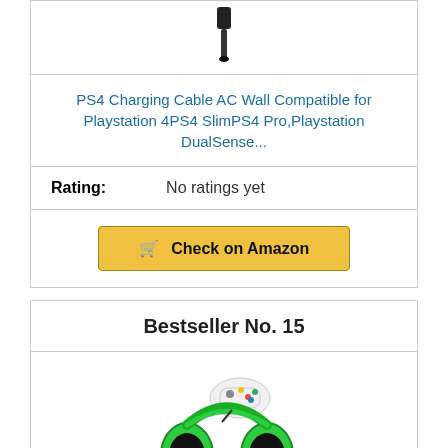[Figure (photo): USB cable product image, partially visible at top]
PS4 Charging Cable AC Wall Compatible for Playstation 4PS4 SlimPS4 Pro,Playstation DualSense...
Rating: No ratings yet
Check on Amazon
Bestseller No. 15
[Figure (photo): Gaming headset (green Razer) with white Xbox controller on a stand]